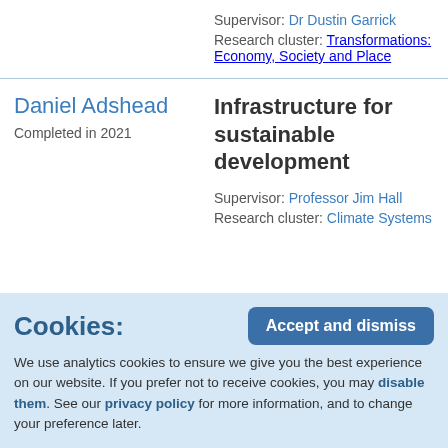Supervisor: Dr Dustin Garrick
Research cluster: Transformations: Economy, Society and Place
Daniel Adshead
Completed in 2021
Infrastructure for sustainable development
Supervisor: Professor Jim Hall
Research cluster: Climate Systems
Cookies: We use analytics cookies to ensure we give you the best experience on our website. If you prefer not to receive cookies, you may disable them. See our privacy policy for more information, and to change your preference later.